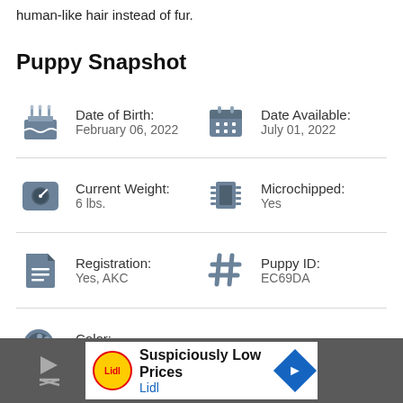human-like hair instead of fur.
Puppy Snapshot
Date of Birth:
February 06, 2022
Date Available:
July 01, 2022
Current Weight:
6 lbs.
Microchipped:
Yes
Registration:
Yes, AKC
Puppy ID:
EC69DA
Color:
Red
Suspiciously Low Prices
Lidl